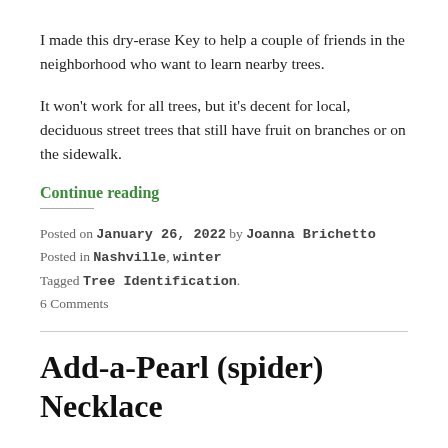I made this dry-erase Key to help a couple of friends in the neighborhood who want to learn nearby trees.
It won’t work for all trees, but it’s decent for local, deciduous street trees that still have fruit on branches or on the sidewalk.
Continue reading
Posted on January 26, 2022 by Joanna Brichetto
Posted in Nashville, winter
Tagged Tree Identification.
6 Comments
Add-a-Pearl (spider) Necklace